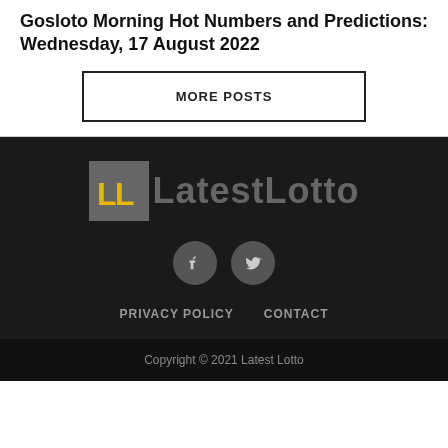Gosloto Morning Hot Numbers and Predictions: Wednesday, 17 August 2022
MORE POSTS
[Figure (logo): LatestLotto logo with yellow LL letters on grey background and grey text]
[Figure (infographic): Two social media icon circles (Facebook and Twitter/similar)]
PRIVACY POLICY   CONTACT
Copyright © 2021 Latest Lotto